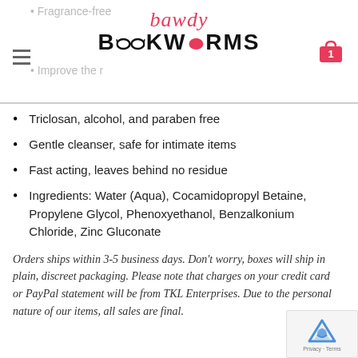bawdy BOOKWORMS
Fragrance-free (partial, cut off at top)
Improve the… (partial, cut off at top)
Triclosan, alcohol, and paraben free
Gentle cleanser, safe for intimate items
Fast acting, leaves behind no residue
Ingredients: Water (Aqua), Cocamidopropyl Betaine, Propylene Glycol, Phenoxyethanol, Benzalkonium Chloride, Zinc Gluconate
Orders ships within 3-5 business days. Don't worry, boxes will ship in plain, discreet packaging. Please note that charges on your credit card or PayPal statement will be from TKL Enterprises. Due to the personal nature of our items, all sales are final.